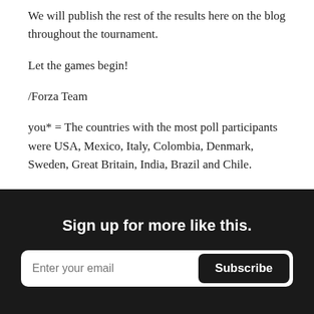We will publish the rest of the results here on the blog throughout the tournament.
Let the games begin!
/Forza Team
you* = The countries with the most poll participants were USA, Mexico, Italy, Colombia, Denmark, Sweden, Great Britain, India, Brazil and Chile.
Sign up for more like this.
Enter your email  Subscribe